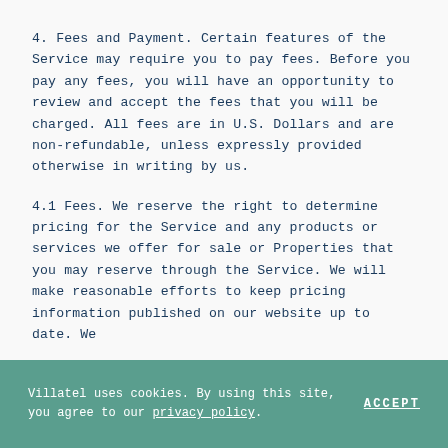4. Fees and Payment. Certain features of the Service may require you to pay fees. Before you pay any fees, you will have an opportunity to review and accept the fees that you will be charged. All fees are in U.S. Dollars and are non-refundable, unless expressly provided otherwise in writing by us.
4.1 Fees. We reserve the right to determine pricing for the Service and any products or services we offer for sale or Properties that you may reserve through the Service. We will make reasonable efforts to keep pricing information published on our website up to date. We
Villatel uses cookies. By using this site, you agree to our privacy policy. ACCEPT